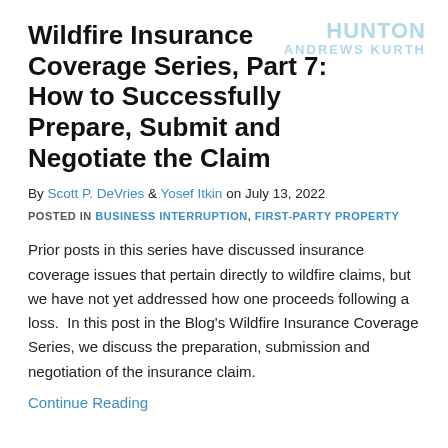Wildfire Insurance Coverage Series, Part 7: How to Successfully Prepare, Submit and Negotiate the Claim
By Scott P. DeVries & Yosef Itkin on July 13, 2022
POSTED IN BUSINESS INTERRUPTION, FIRST-PARTY PROPERTY
Prior posts in this series have discussed insurance coverage issues that pertain directly to wildfire claims, but we have not yet addressed how one proceeds following a loss.  In this post in the Blog's Wildfire Insurance Coverage Series, we discuss the preparation, submission and negotiation of the insurance claim.
Continue Reading